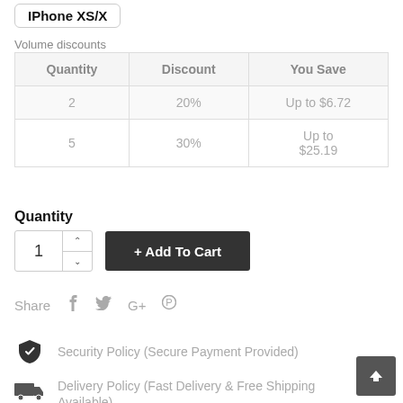IPhone XS/X
Volume discounts
| Quantity | Discount | You Save |
| --- | --- | --- |
| 2 | 20% | Up to $6.72 |
| 5 | 30% | Up to $25.19 |
Quantity
+ Add To Cart
Share
Security Policy (Secure Payment Provided)
Delivery Policy (Fast Delivery & Free Shipping Available)